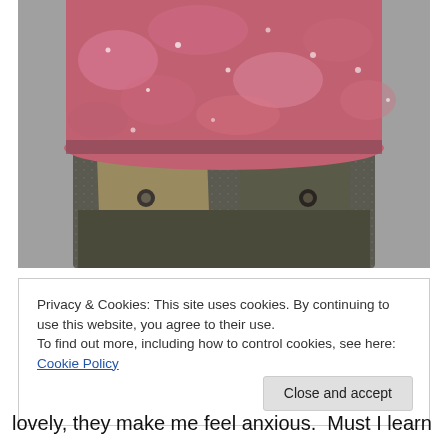[Figure (photo): Close-up photograph of a boot or shoe with a fuzzy pink/red knitted or felted cuff at the top, and a dark olive/khaki leather or fabric lower portion with metal rivets or studs on the sides. The background is grey.]
Privacy & Cookies: This site uses cookies. By continuing to use this website, you agree to their use.
To find out more, including how to control cookies, see here: Cookie Policy
Close and accept
lovely, they make me feel anxious.  Must I learn to do